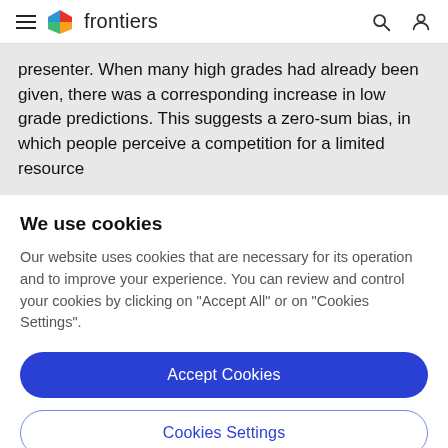frontiers
presenter. When many high grades had already been given, there was a corresponding increase in low grade predictions. This suggests a zero-sum bias, in which people perceive a competition for a limited resource
We use cookies
Our website uses cookies that are necessary for its operation and to improve your experience. You can review and control your cookies by clicking on "Accept All" or on "Cookies Settings".
Accept Cookies
Cookies Settings